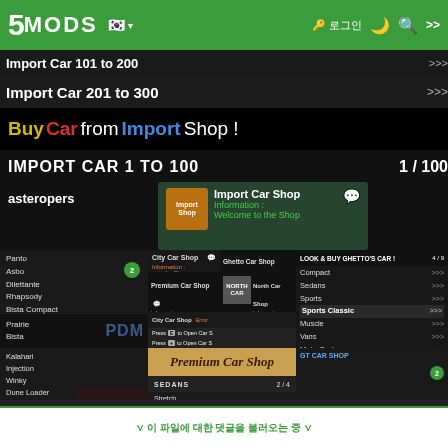5MODS — Import Car 101 to 200 / Import Car 201 to 300
[Figure (screenshot): GTA5 mod screenshot collage showing Import Car Shop UI, car lists, premium car shop menus, and in-game shop screens]
Import Car 201 to 300
Buy Car from Import Shop !
IMPORT CAR 1 TO 100  1 / 100
asteropers
Import Car Shop
Information :
Welcome to the Shop
Panto
Asbo
Dilettante
Rhapsody
Bista Compact
Prairie
Bista
City Car Shop
Ghetto Car Shop
Premium Car Shop
North Car Shop
City Car Shop
LOOK & BUY GHETTO'S CAR !
Compact
Sedans
Sports
Sports Classic
Muscle
Vans
MotorCycles
Kalahari
Injection
Winky
Dune Loader
Dochi
Rebel Rusty
Rancher XL
Premium Car Shop
SEDANS  2 / 4
Stretch
Stafford
Patriot Stretch
Super Diamond
이 파일에 대한 댓글을 불러오는 중